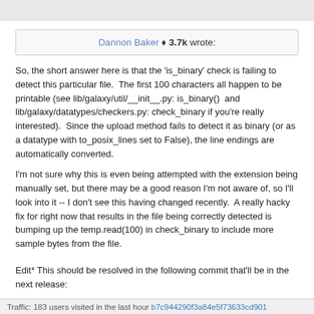Dannon Baker ♦ 3.7k wrote:
So, the short answer here is that the 'is_binary' check is failing to detect this particular file.  The first 100 characters all happen to be printable (see lib/galaxy/util/__init__.py: is_binary()  and lib/galaxy/datatypes/checkers.py: check_binary if you're really interested).  Since the upload method fails to detect it as binary (or as a datatype with to_posix_lines set to False), the line endings are automatically converted.
I'm not sure why this is even being attempted with the extension being manually set, but there may be a good reason I'm not aware of, so I'll look into it -- I don't see this having changed recently.  A really hacky fix for right now that results in the file being correctly detected is bumping up the temp.read(100) in check_binary to include more sample bytes from the file.
Edit* This should be resolved in the following commit that'll be in the next release:
https://bitbucket.org/galaxy/galaxy-
Traffic: 183 users visited in the last hour b7c944290f3a84e5f73633cd901